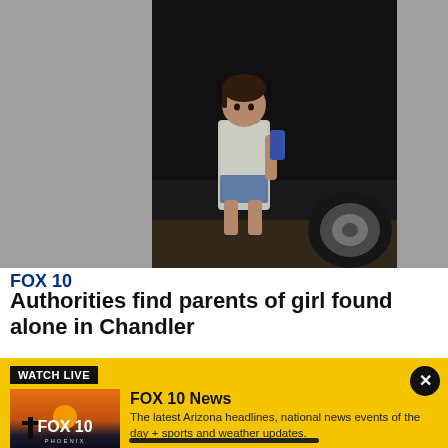[Figure (photo): Young girl standing next to a dark vehicle at night, wearing a white t-shirt and blue shorts, holding something blue]
FOX 10
Authorities find parents of girl found alone in Chandler
WATCH LIVE
[Figure (logo): FOX 10 Phoenix logo on a sunset background]
FOX 10 News
The latest Arizona headlines, national news events of the day + sports and weather updates.